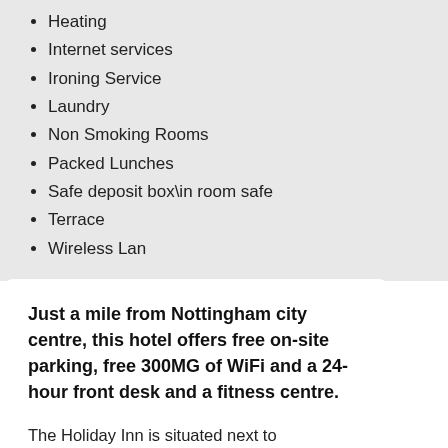Heating
Internet services
Ironing Service
Laundry
Non Smoking Rooms
Packed Lunches
Safe deposit box\in room safe
Terrace
Wireless Lan
Just a mile from Nottingham city centre, this hotel offers free on-site parking, free 300MG of WiFi and a 24-hour front desk and a fitness centre.
The Holiday Inn is situated next to Nottingham Castle Marina. The bright and airy bedrooms each have a Smart TV with satellite channels including Sky Sports. All rooms feature free WiFi access, tea/coffee facilities and a private bathroom with a hairdryer. Guests can enjoy a hearty breakfast buffet each morning at Holiday Inn Nottingham. Eaton's Brasserie serves freshly prepared evening meals, and the bar offers BT Sports channels, light snacks and coffees. Holiday Inn is just a 20-minute stroll from Nottingham Railway Station and Intu Victoria Centre. Nottinghamshire is four miles away, and